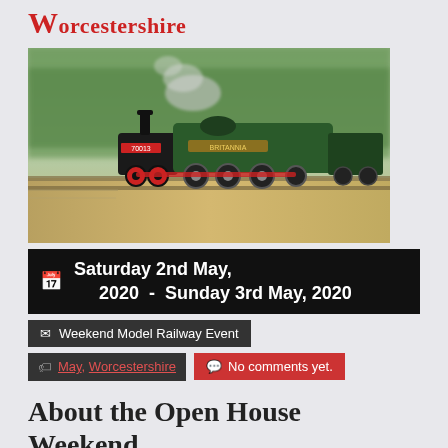Worcestershire
[Figure (photo): A green steam locomotive pulling a train at speed, photographed with motion blur on the background suggesting high speed, on a railway track outdoors.]
Saturday 2nd May, 2020  -  Sunday 3rd May, 2020
Weekend Model Railway Event
May, Worcestershire
No comments yet.
About the Open House Weekend
Birmingham is the second-largest